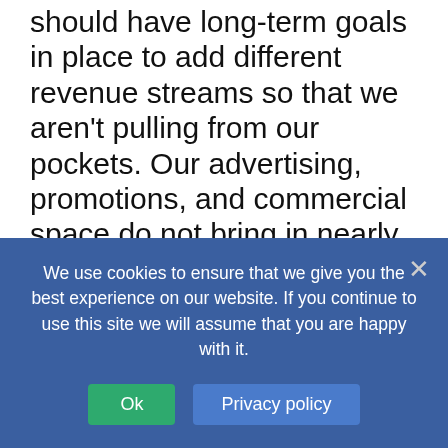should have long-term goals in place to add different revenue streams so that we aren't pulling from our pockets. Our advertising, promotions, and commercial space do not bring in nearly enough as it should. All track websites and broadcast can be renovated to include a better home for outside advertising. We cannot continue to advertise among ourselves without advertising to the world beyond harness racing. There is not enough data to determine advertising rates. We need to learn how many consumers we have watching our product, which can translate into a definitive Ad Rate that we
We use cookies to ensure that we give you the best experience on our website. If you continue to use this site we will assume that you are happy with it.
Ok
Privacy policy